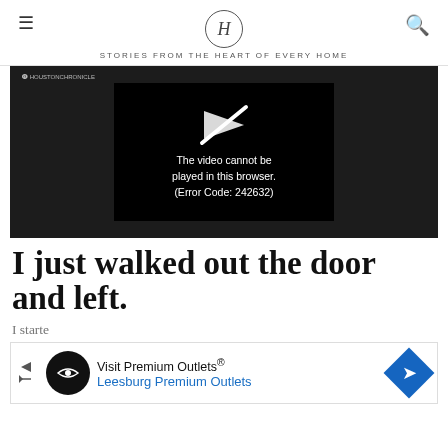H — STORIES FROM THE HEART OF EVERY HOME
[Figure (screenshot): Video player showing error message: 'The video cannot be played in this browser. (Error Code: 242632)' on a dark background]
I just walked out the door and left.
I starte
[Figure (other): Advertisement banner: Visit Premium Outlets® — Leesburg Premium Outlets]